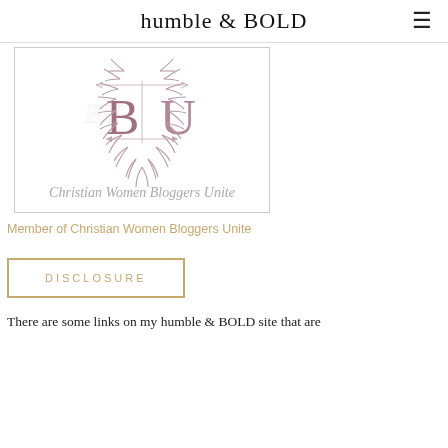humble & BOLD
[Figure (logo): Christian Women Bloggers Unite logo with decorative laurel wreath and BU monogram in muted mauve/pink tones, with script text 'Christian Women Bloggers Unite' below]
Member of Christian Women Bloggers Unite
DISCLOSURE
There are some links on my humble & BOLD site that are